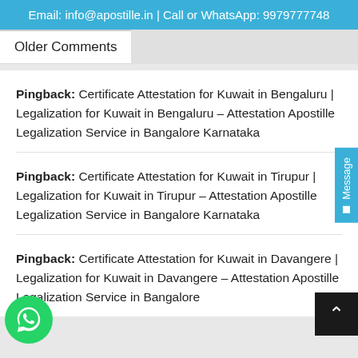Email: info@apostille.in | Call or WhatsApp: 9979777748
Older Comments
Pingback: Certificate Attestation for Kuwait in Bengaluru | Legalization for Kuwait in Bengaluru – Attestation Apostille Legalization Service in Bangalore Karnataka
Pingback: Certificate Attestation for Kuwait in Tirupur | Legalization for Kuwait in Tirupur – Attestation Apostille Legalization Service in Bangalore Karnataka
Pingback: Certificate Attestation for Kuwait in Davangere | Legalization for Kuwait in Davangere – Attestation Apostille Legalization Service in Bangalore